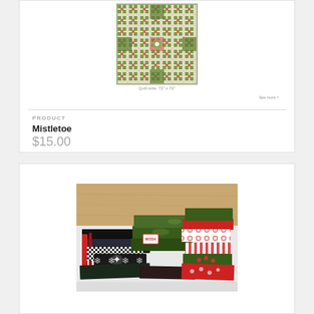[Figure (photo): Green and cream geometric quilt pattern displayed as a flat lay photo with small caption text below reading 'Quilt size: 72" x 72"' and a 'See more' link]
PRODUCT
Mistletoe
$15.00
[Figure (photo): Pile of Christmas-themed fabric fat quarters in red, green, black, and white patterns including snowflakes, candy canes, and floral designs stacked on a wooden surface]